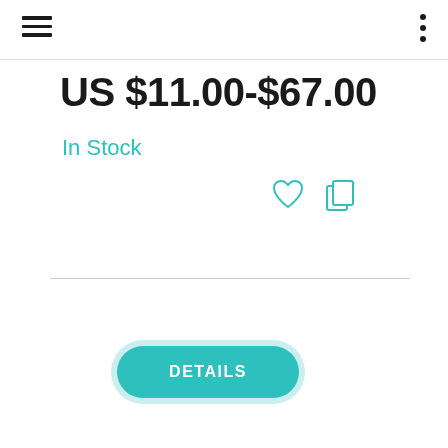US $11.00-$67.00
In Stock
[Figure (screenshot): DETAILS button with teal background and rounded pill shape, plus heart icon and copy icon to the right]